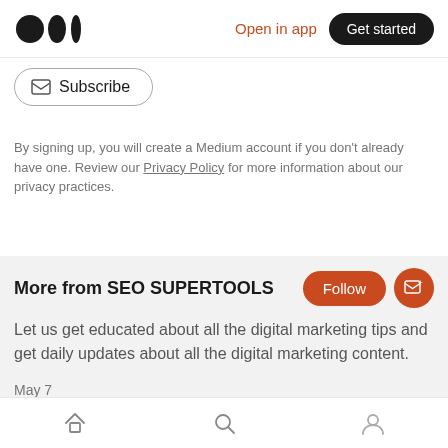Medium logo | Open in app | Get started
[Figure (screenshot): Subscribe button with envelope icon and rounded border]
By signing up, you will create a Medium account if you don't already have one. Review our Privacy Policy for more information about our privacy practices.
More from SEO SUPERTOOLS
Let us get educated about all the digital marketing tips and get daily updates about all the digital marketing content.
May 7
How to set up WordPress on Bluehost
Home | Search | Profile